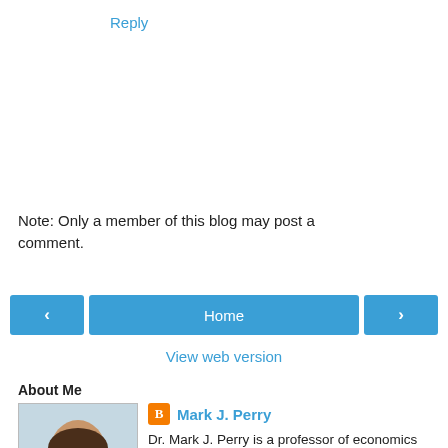Reply
Note: Only a member of this blog may post a comment.
[Figure (other): Navigation bar with left arrow button, Home button, and right arrow button, all in blue]
View web version
About Me
[Figure (photo): Headshot photo of Mark J. Perry, a man in a dark jacket]
Mark J. Perry
Dr. Mark J. Perry is a professor of economics and finance in the School of Management at the Flint campus of the University of Michigan. Perry holds two graduate degrees in economics (M.A. and Ph.D.) from